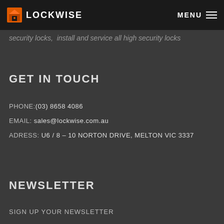LOCKWISE
security locks,  install and service all high security locks
GET IN TOUCH
PHONE:(03) 8658 4086
EMAIL: sales@lockwise.com.au
ADRESS: U6 / 8 – 10 NORTON DRIVE, MELTON VIC 3337
NEWSLETTER
SIGN UP YOUR NEWSLETTER